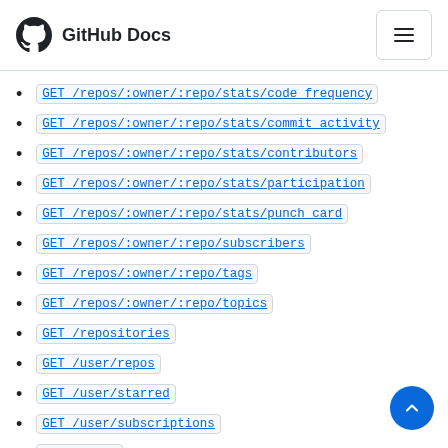GitHub Docs
GET /repos/:owner/:repo/stats/code_frequency
GET /repos/:owner/:repo/stats/commit_activity
GET /repos/:owner/:repo/stats/contributors
GET /repos/:owner/:repo/stats/participation
GET /repos/:owner/:repo/stats/punch_card
GET /repos/:owner/:repo/subscribers
GET /repos/:owner/:repo/tags
GET /repos/:owner/:repo/topics
GET /repositories
GET /user/repos
GET /user/starred
GET /user/subscriptions
GET /users
GET /users/:username